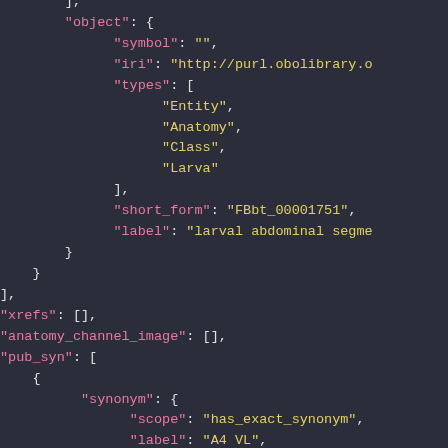JSON code snippet showing object with fields: symbol, iri, types (Entity, Anatomy, Class, Larva), short_form (FBbt_00001751), label (larval abdominal segme...), xrefs, anatomy_channel_image, pub_syn with synonym containing scope (has_exact_synonym) and label (A4 VL)